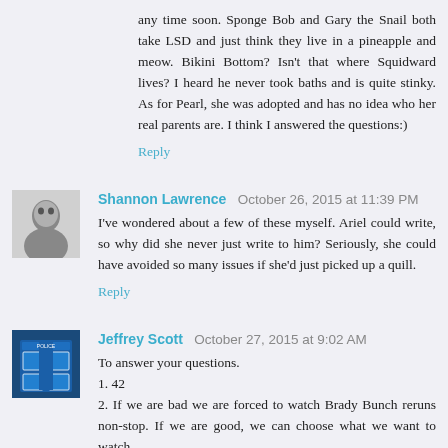any time soon. Sponge Bob and Gary the Snail both take LSD and just think they live in a pineapple and meow. Bikini Bottom? Isn't that where Squidward lives? I heard he never took baths and is quite stinky. As for Pearl, she was adopted and has no idea who her real parents are. I think I answered the questions:)
Reply
Shannon Lawrence  October 26, 2015 at 11:39 PM
I've wondered about a few of these myself. Ariel could write, so why did she never just write to him? Seriously, she could have avoided so many issues if she'd just picked up a quill.
Reply
Jeffrey Scott  October 27, 2015 at 9:02 AM
To answer your questions.
1. 42
2. If we are bad we are forced to watch Brady Bunch reruns non-stop. If we are good, we can choose what we want to watch.
3.4. Disney obviously doesn't believe in intelligent women.